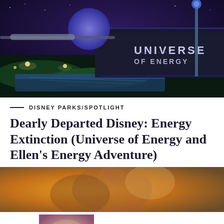[Figure (photo): Nighttime photo of the Universe of Energy pavilion at EPCOT, showing the illuminated 'Universe of Energy' signage, a geodesic sphere (Spaceship Earth) in the background, monorail track, and a reflecting pool in the foreground.]
DISNEY PARKS/SPOTLIGHT
Dearly Departed Disney: Energy Extinction (Universe of Energy and Ellen’s Energy Adventure)
[Figure (photo): Partial view of an animated scene, warm orange and golden tones suggesting a Disney attraction or movie scene.]
[Figure (photo): Thumbnail image of Disney characters Lumiere and Cogsworth from Beauty and the Beast.]
Cheering Section: Favorite Disney Sidekicks